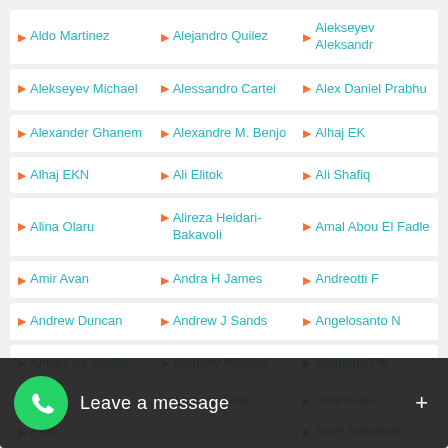Aldo Martinez | Alejandro Quilez | Alekseyev Aleksandr
Alekseyev Michael | Alessandro Cartei | Alex Daniel Prabhu
Alexander Ghanem | Alexandre M. Benjo | Alhaj EK
Alhaj EKN | Ali Elitok | Ali Shafiq
Alina Olaru | Alireza Heidari-Bakavoli | Amal Abou El Fadle
Amir Avan | Andra H James | Andreotti F
Andrew Duncan | Andrew J Sands | Angelosanto N
Anna Lisa Carillo | Anthony Whitted | Antonino Piti
Antonino ... | Antti Hedman | Antti Kivel
Aren... | | Arne Schwindt
[Figure (logo): WhatsApp green phone icon with Leave a message + button overlay]